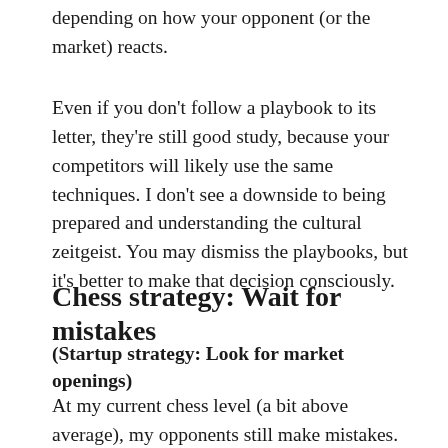depending on how your opponent (or the market) reacts.
Even if you don't follow a playbook to its letter, they're still good study, because your competitors will likely use the same techniques. I don't see a downside to being prepared and understanding the cultural zeitgeist. You may dismiss the playbooks, but it's better to make that decision consciously.
Chess strategy: Wait for mistakes
(Startup strategy: Look for market openings)
At my current chess level (a bit above average), my opponents still make mistakes. Chess.com